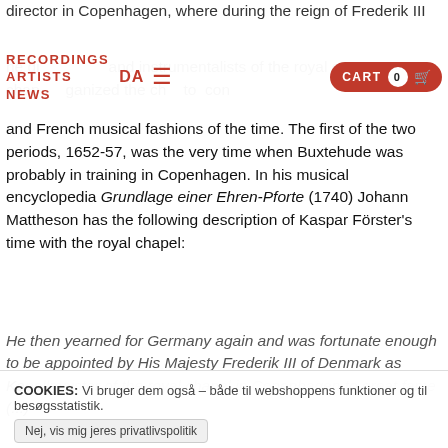director in Copenhagen, where during the reign of Frederik III he directed and instrumentalists of the royal court chapel. organized the ch to con and French musical fashions of the time. The first of the two periods, 1652-57, was the very time when Buxtehude was probably in training in Copenhagen. In his musical encyclopedia Grundlage einer Ehren-Pforte (1740) Johann Mattheson has the following description of Kaspar Förster's time with the royal chapel:
RECORDINGS  ARTISTS  NEWS  DA  ☰  CART 0
He then yearned for Germany again and was fortunate enough to be appointed by His Majesty Frederik III of Denmark as Kapellmeister of the royal chapel in Copenhagen to great fame (...)
COOKIES: Vi bruger dem også – både til webshoppens funktioner og til besøgsstatistik.
Nej, vis mig jeres privatlivspolitik
OK
DECLINE
BUY ALBUM  Dixit Dom